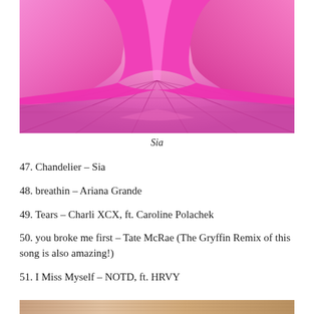[Figure (photo): A pink/magenta satin draped fabric or dress billowing on a reflective mirrored floor surface, with a pink-purple background. The image is cropped to show just the fabric and its reflection.]
Sia
47. Chandelier – Sia
48. breathin – Ariana Grande
49. Tears – Charli XCX, ft. Caroline Polachek
50. you broke me first – Tate McRae (The Gryffin Remix of this song is also amazing!)
51. I Miss Myself – NOTD, ft. HRVY
[Figure (photo): Partial image at the bottom of the page, appears to be another photo partially visible.]